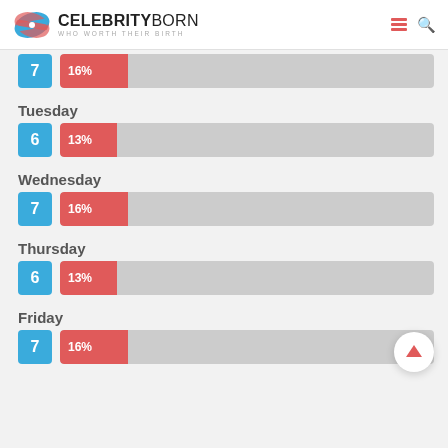CELEBRITYBORN - WHO WORTH THEIR BIRTH
7  16%
Tuesday
6  13%
Wednesday
7  16%
Thursday
6  13%
Friday
7  16%